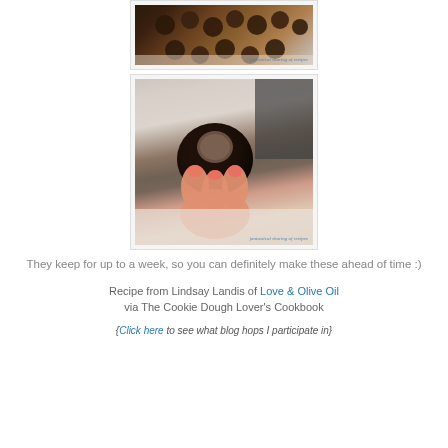[Figure (photo): Photo of chocolate truffles on a plate, partially visible at top, with watermark 'fantastical sharing of recipes']
[Figure (photo): Close-up photo of a hand holding a bitten chocolate truffle showing the cookie dough interior, with watermark 'fantastical sharing of recipes']
They keep for up to a week, so you can definitely make these ahead of time :)
Recipe from Lindsay Landis of Love & Olive Oil via The Cookie Dough Lover's Cookbook
{Click here to see what blog hops I participate in}